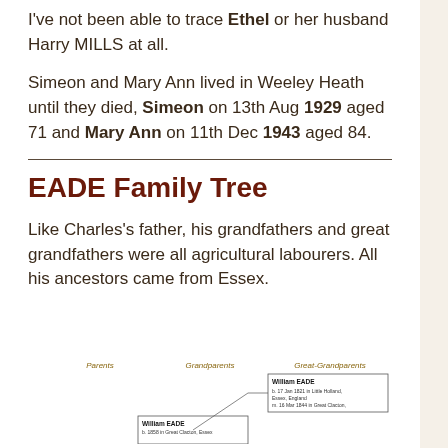I've not been able to trace Ethel or her husband Harry MILLS at all.
Simeon and Mary Ann lived in Weeley Heath until they died, Simeon on 13th Aug 1929 aged 71 and Mary Ann on 11th Dec 1943 aged 84.
EADE Family Tree
Like Charles's father, his grandfathers and great grandfathers were all agricultural labourers. All his ancestors came from Essex.
[Figure (organizational-chart): EADE family tree diagram showing columns for Parents, Grandparents, and Great-Grandparents with William EADE entries and connecting lines.]